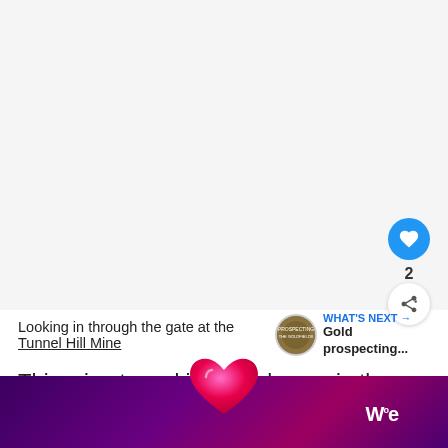[Figure (photo): A mostly white/blank image area representing a photo placeholder at the top of the page]
Looking in through the gate at the Tunnel Hill Mine
[Figure (infographic): WHAT'S NEXT arrow label with a circular thumbnail image and text 'Gold prospecting...']
This mine tunnel is tucked away in the bush just ou[tside]... [i]e
[Figure (infographic): Bottom dark purple/magenta bar with a large pink heart icon and W logo]